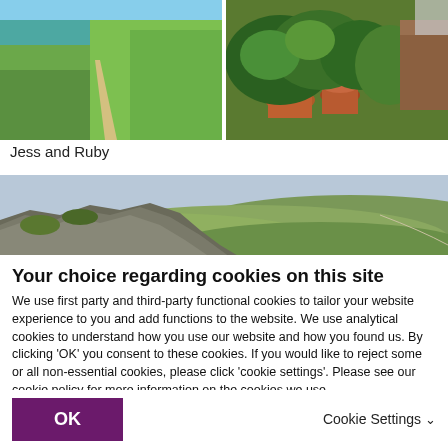[Figure (photo): Two side-by-side photos: left shows a coastal path on green clifftop with turquoise sea; right shows potted plants and garden foliage with wooden furniture]
Jess and Ruby
[Figure (photo): Wide landscape photo showing rocky outcrop in foreground with rolling green hills and valleys stretching into the distance]
Your choice regarding cookies on this site
We use first party and third-party functional cookies to tailor your website experience to you and add functions to the website. We use analytical cookies to understand how you use our website and how you found us. By clicking 'OK' you consent to these cookies. If you would like to reject some or all non-essential cookies, please click 'cookie settings'. Please see our cookie policy for more information on the cookies we use.
OK
Cookie Settings